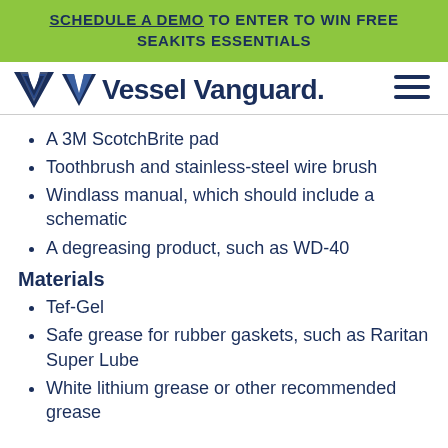SCHEDULE A DEMO TO ENTER TO WIN FREE SEAKITS ESSENTIALS
[Figure (logo): Vessel Vanguard logo with V chevron icon and hamburger menu icon]
A 3M ScotchBrite pad
Toothbrush and stainless-steel wire brush
Windlass manual, which should include a schematic
A degreasing product, such as WD-40
Materials
Tef-Gel
Safe grease for rubber gaskets, such as Raritan Super Lube
White lithium grease or other recommended grease